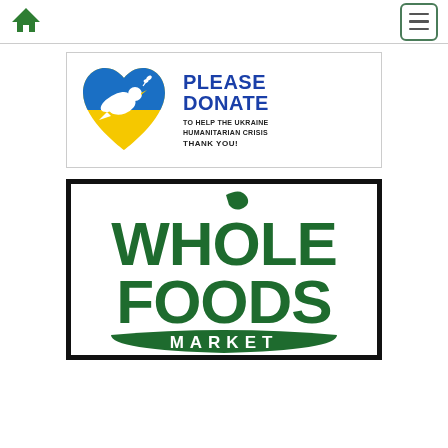Home navigation and menu button
[Figure (illustration): Ukraine humanitarian crisis donation banner with blue and yellow heart containing a peace dove, text: PLEASE DONATE TO HELP THE UKRAINE HUMANITARIAN CRISIS THANK YOU!]
[Figure (logo): Whole Foods Market logo in dark green on white background with black border]